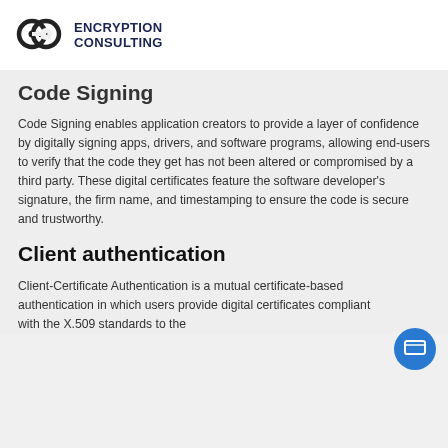ENCRYPTION CONSULTING
Code Signing
Code Signing enables application creators to provide a layer of confidence by digitally signing apps, drivers, and software programs, allowing end-users to verify that the code they get has not been altered or compromised by a third party. These digital certificates feature the software developer’s signature, the firm name, and timestamping to ensure the code is secure and trustworthy.
Client authentication
Client-Certificate Authentication is a mutual certificate-based authentication in which users provide digital certificates compliant with the X.509 standards to the